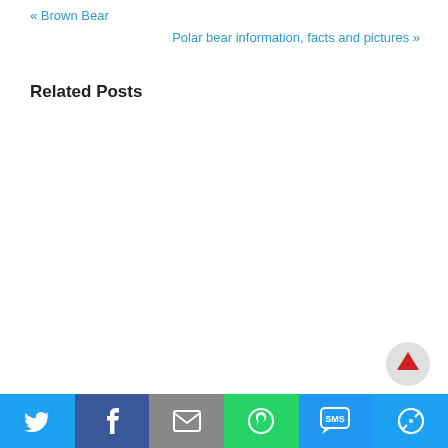« Brown Bear
Polar bear information, facts and pictures »
Related Posts
[Figure (infographic): Social media share bar with icons: Twitter (blue), Facebook (dark blue), Email (gray), WhatsApp (green), SMS (blue), More (blue). Also a scroll-to-top arrow button (circle with red up arrow).]